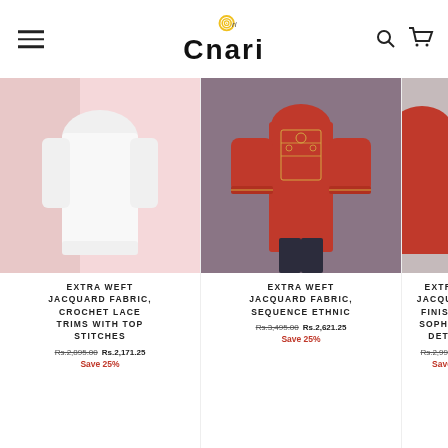Cnari (logo with hamburger menu and search/cart icons)
[Figure (photo): White kurti/top on a pink background]
EXTRA WEFT JACQUARD FABRIC, CROCHET LACE TRIMS WITH TOP STITCHES
Rs.2,895.00  Rs.2,171.25  Save 25%
[Figure (photo): Red/maroon embroidered kurti on grey/blue background]
EXTRA WEFT JACQUARD FABRIC, SEQUENCE ETHNIC
Rs.3,495.00  Rs.2,621.25  Save 25%
[Figure (photo): Third product partially visible, cropped]
EXTRA JACQUAR FINISHE SOPHIST DETA
Rs.2,995.00  Save